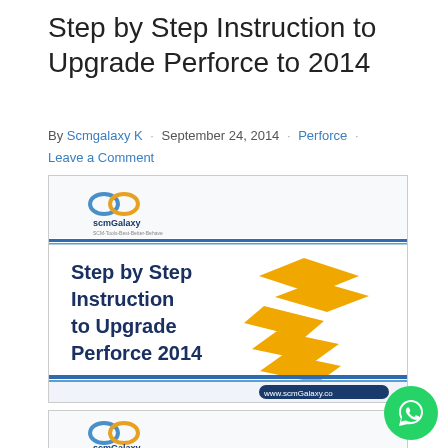Step by Step Instruction to Upgrade Perforce to 2014
By Scmgalaxy K · September 24, 2014 · Perforce · Leave a Comment
[Figure (illustration): SCMGalaxy branded banner image with text 'Step by Step Instruction to Upgrade Perforce 2014' in dark blue bold font on white background, with decorative gold/yellow layered diamond and chevron shapes on the right, a horizontal blue line separator, SCMGalaxy logo at top left, and www.scmGalaxy.com URL at bottom right.]
[Figure (illustration): Partial view of a second SCMGalaxy branded image, showing the logo at top left, similar to the first image.]